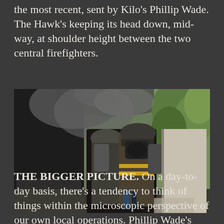the most recent, sent by Kilo's Phillip Wade. The Hawk's keeping its head down, mid-way, at shoulder height between the two central firefighters.
[Figure (photo): Firefighters in full gear with air tanks at the entrance of a building with smoke and vegetation visible]
THE BIGGER PICTURE. On a day-to-day basis, there's a tendency to think of things within the microscopic perspective of our own local operations. Phillip Wade's Facebook posts from